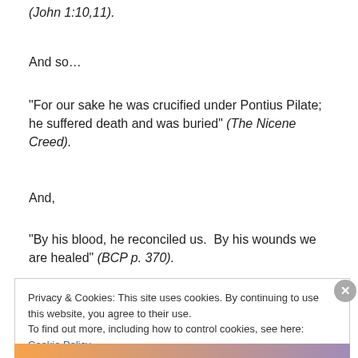(John 1:10,11).
And so…
“For our sake he was crucified under Pontius Pilate; he suffered death and was buried” (The Nicene Creed).
And,
“By his blood, he reconciled us.  By his wounds we are healed” (BCP p. 370).
Privacy & Cookies: This site uses cookies. By continuing to use this website, you agree to their use.
To find out more, including how to control cookies, see here: Cookie Policy
Close and accept